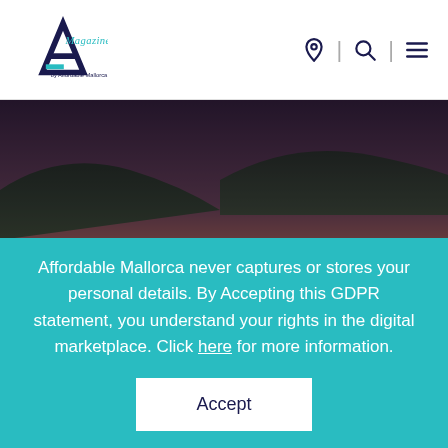A Magazine by Affordable Mallorca — navigation icons
[Figure (photo): Aerial view of Port Andratx, Mallorca — a coastal town with terracotta-roofed buildings, a bay with boats, and green hills in the background at dusk]
Port Andratx - Laid Back Luxury in a ...
Affordable Mallorca never captures or stores your personal details. By Accepting this GDPR statement, you understand your rights in the digital marketplace. Click here for more information.
Accept